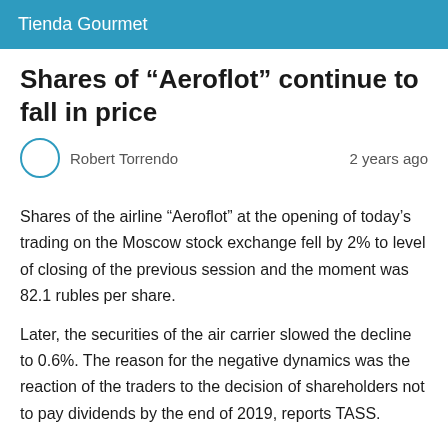Tienda Gourmet
Shares of “Aeroflot” continue to fall in price
Robert Torrendo    2 years ago
Shares of the airline “Aeroflot” at the opening of today’s trading on the Moscow stock exchange fell by 2% to level of closing of the previous session and the moment was 82.1 rubles per share.
Later, the securities of the air carrier slowed the decline to 0.6%. The reason for the negative dynamics was the reaction of the traders to the decision of shareholders not to pay dividends by the end of 2019, reports TASS.